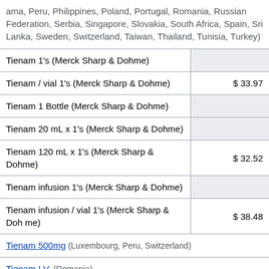| Product | Price |
| --- | --- |
| ama, Peru, Philippines, Poland, Portugal, Romania, Russian Federation, Serbia, Singapore, Slovakia, South Africa, Spain, Sri Lanka, Sweden, Switzerland, Taiwan, Thailand, Tunisia, Turkey) |  |
| Tienam 1's (Merck Sharp & Dohme) |  |
| Tienam / vial 1's (Merck Sharp & Dohme) | $ 33.97 |
| Tienam 1 Bottle (Merck Sharp & Dohme) |  |
| Tienam 20 mL x 1's (Merck Sharp & Dohme) |  |
| Tienam 120 mL x 1's (Merck Sharp & Dohme) | $ 32.52 |
| Tienam infusion 1's (Merck Sharp & Dohme) |  |
| Tienam infusion / vial 1's (Merck Sharp & Dohme) | $ 38.48 |
| Tienam 500mg (Luxembourg, Peru, Switzerland) |  |
| Tienam I.V. (Romania) |  |
| Injectable; Injection; Cilastatin Sodium 250 mg; |  |